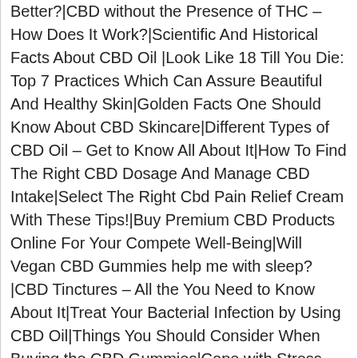Better?|CBD without the Presence of THC – How Does It Work?|Scientific And Historical Facts About CBD Oil |Look Like 18 Till You Die: Top 7 Practices Which Can Assure Beautiful And Healthy Skin|Golden Facts One Should Know About CBD Skincare|Different Types of CBD Oil – Get to Know All About It|How To Find The Right CBD Dosage And Manage CBD Intake|Select The Right Cbd Pain Relief Cream With These Tips!|Buy Premium CBD Products Online For Your Compete Well-Being|Will Vegan CBD Gummies help me with sleep?|CBD Tinctures – All the You Need to Know About It|Treat Your Bacterial Infection by Using CBD Oil|Things You Should Consider When Buying the CBD Gummies|Cope with Stress and Anxiety During Pandemic by Inhaling Cannabidiol|What Types Of Health Benefits do You Get From CBD Gummies?|Get Relief from Ailments and Other Mental Conditions with CBD Products|CBD Vape Oil: Effective Way To Get Your Daily CBD Intake|What Are The Health Benefits Of Going